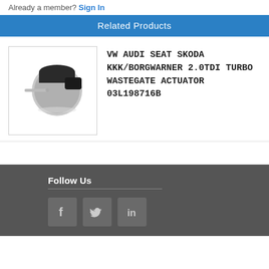Already a member? Sign In
Related Products
[Figure (photo): Photo of VW Audi Seat Skoda KKK/BorgWarner 2.0TDI turbo wastegate actuator part 03L198716B, showing a small cylindrical metallic actuator with a pin on a white background]
VW AUDI SEAT SKODA KKK/BORGWARNER 2.0TDI TURBO WASTEGATE ACTUATOR 03L198716B
Follow Us